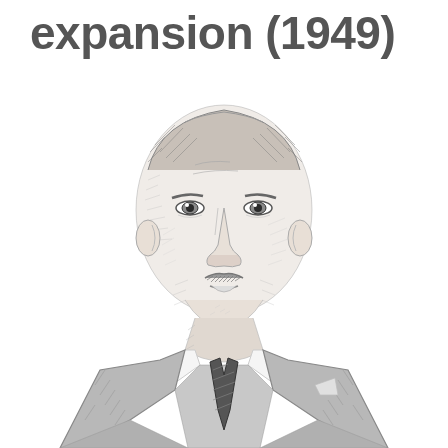expansion (1949)
[Figure (illustration): Pencil sketch portrait of an elderly man in a suit and tie, rendered in black and white cross-hatching style. The man has a receding hairline, distinctive facial features, and wears a dark suit with a striped tie.]